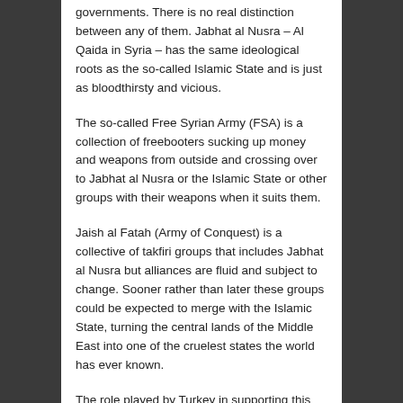governments. There is no real distinction between any of them. Jabhat al Nusra – Al Qaida in Syria – has the same ideological roots as the so-called Islamic State and is just as bloodthirsty and vicious.
The so-called Free Syrian Army (FSA) is a collection of freebooters sucking up money and weapons from outside and crossing over to Jabhat al Nusra or the Islamic State or other groups with their weapons when it suits them.
Jaish al Fatah (Army of Conquest) is a collective of takfiri groups that includes Jabhat al Nusra but alliances are fluid and subject to change. Sooner rather than later these groups could be expected to merge with the Islamic State, turning the central lands of the Middle East into one of the cruelest states the world has ever known.
The role played by Turkey in supporting this massive assault on a neighboring country is pivotal. The story begins with Libya. After hesitating, and